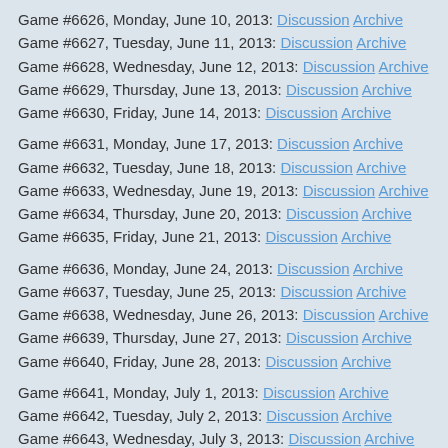Game #6626, Monday, June 10, 2013: Discussion Archive
Game #6627, Tuesday, June 11, 2013: Discussion Archive
Game #6628, Wednesday, June 12, 2013: Discussion Archive
Game #6629, Thursday, June 13, 2013: Discussion Archive
Game #6630, Friday, June 14, 2013: Discussion Archive
Game #6631, Monday, June 17, 2013: Discussion Archive
Game #6632, Tuesday, June 18, 2013: Discussion Archive
Game #6633, Wednesday, June 19, 2013: Discussion Archive
Game #6634, Thursday, June 20, 2013: Discussion Archive
Game #6635, Friday, June 21, 2013: Discussion Archive
Game #6636, Monday, June 24, 2013: Discussion Archive
Game #6637, Tuesday, June 25, 2013: Discussion Archive
Game #6638, Wednesday, June 26, 2013: Discussion Archive
Game #6639, Thursday, June 27, 2013: Discussion Archive
Game #6640, Friday, June 28, 2013: Discussion Archive
Game #6641, Monday, July 1, 2013: Discussion Archive
Game #6642, Tuesday, July 2, 2013: Discussion Archive
Game #6643, Wednesday, July 3, 2013: Discussion Archive
Game #6644, Thursday, July 4, 2013: Discussion Archive
Game #6645, Friday, July 5, 2013: Discussion Archive